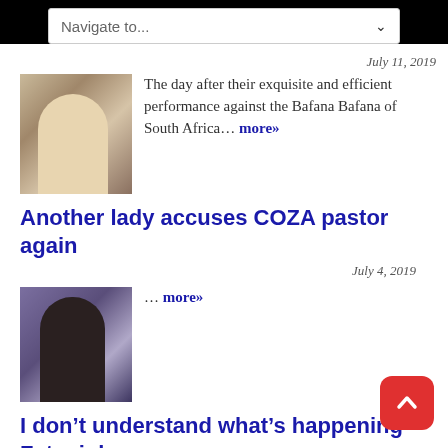[Figure (screenshot): Navigate to... dropdown navigation bar]
July 11, 2019
[Figure (photo): Thumbnail photo of a man in white shirt]
The day after their exquisite and efficient performance against the Bafana Bafana of South Africa… more»
Another lady accuses COZA pastor again
July 4, 2019
[Figure (photo): Thumbnail photo of a man in dark outfit against purple background]
… more»
I don't understand what's happening – Fatoyinbo cries as he steps down